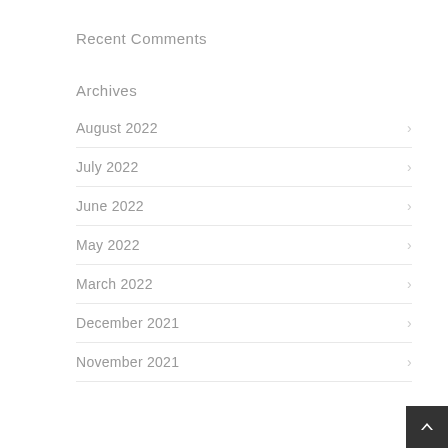Recent Comments
Archives
August 2022
July 2022
June 2022
May 2022
March 2022
December 2021
November 2021